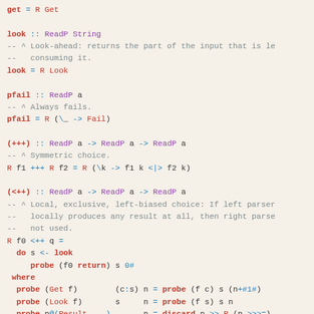get = R Get

look :: ReadP String
-- ^ Look-ahead: returns the part of the input that is left,
--   consuming it.
look = R Look

pfail :: ReadP a
-- ^ Always fails.
pfail = R (\_ -> Fail)

(+++) :: ReadP a -> ReadP a -> ReadP a
-- ^ Symmetric choice.
R f1 +++ R f2 = R (\k -> f1 k <|> f2 k)

(<++) :: ReadP a -> ReadP a -> ReadP a
-- ^ Local, exclusive, left-biased choice: If left parser
--   locally produces any result at all, then right parser
--   not used.
R f0 <++ q =
  do s <- look
     probe (f0 return) s 0#
 where
  probe (Get f)        (c:s) n = probe (f c) s (n+#1#)
  probe (Look f)       s     n = probe (f s) s n
  probe p@(Result _ _) _     n = discard n >> R (p >>>=)
  probe (Final r)      _     _ = R (Final r >>>=)
  probe _              _     _ = q

  discard 0# = return ()